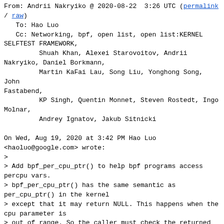From: Andrii Nakryiko @ 2020-08-22  3:26 UTC (permalink / raw)
   To: Hao Luo
   Cc: Networking, bpf, open list, open list:KERNEL SELFTEST FRAMEWORK,
         Shuah Khan, Alexei Starovoitov, Andrii Nakryiko, Daniel Borkmann,
         Martin KaFai Lau, Song Liu, Yonghong Song, John Fastabend,
         KP Singh, Quentin Monnet, Steven Rostedt, Ingo Molnar,
         Andrey Ignatov, Jakub Sitnicki
On Wed, Aug 19, 2020 at 3:42 PM Hao Luo
<haoluo@google.com> wrote:
>
> Add bpf_per_cpu_ptr() to help bpf programs access percpu vars.
> bpf_per_cpu_ptr() has the same semantic as per_cpu_ptr() in the kernel
> except that it may return NULL. This happens when the cpu parameter is
> out of range. So the caller must check the returned value.
>
> Signed-off-by: Hao Luo <haoluo@google.com>
> ---
The logic looks correct, few naming nits, but otherwise: